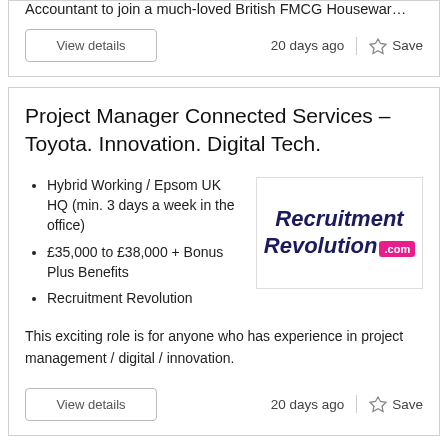Accountant to join a much-loved British FMCG Housewar…
View details
20 days ago
Save
Project Manager Connected Services – Toyota. Innovation. Digital Tech.
Hybrid Working / Epsom UK HQ (min. 3 days a week in the office)
£35,000 to £38,000 + Bonus Plus Benefits
Recruitment Revolution
[Figure (logo): Recruitment Revolution .com logo — dark navy italic text with pink .com badge]
This exciting role is for anyone who has experience in project management / digital / innovation.
View details
20 days ago
Save